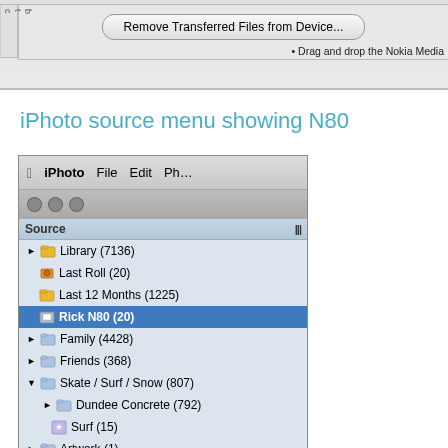[Figure (screenshot): Mac OS X dialog with 'Remove Transferred Files from Device...' button and partial text 'Drag and drop the Nokia Media']
iPhoto source menu showing N80
[Figure (screenshot): iPhoto application screenshot showing source panel with Library (7136), Last Roll (20), Last 12 Months (1225), Rick N80 (20) selected in blue, Family (4428), Friends (368), Skate / Surf / Snow (807) expanded showing Dundee Concrete (792) and Surf (15), Artwork (1), eBay (49), Rick N80 (0)]